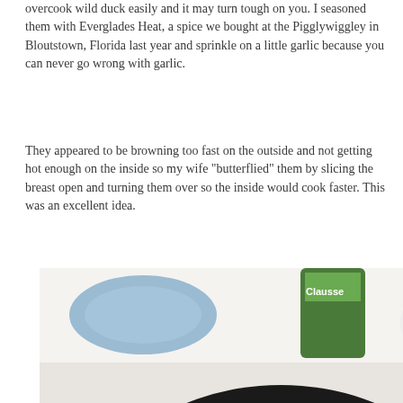overcook wild duck easily and it may turn tough on you. I seasoned them with Everglades Heat, a spice we bought at the Pigglywiggley in Bloutstown, Florida last year and sprinkle on a little garlic because you can never go wrong with garlic.
They appeared to be browning too fast on the outside and not getting hot enough on the inside so my wife "butterflied" them by slicing the breast open and turning them over so the inside would cook faster. This was an excellent idea.
[Figure (photo): Photo of duck breasts cooking in a cast iron skillet. One piece is cut open showing pink/red interior. A spatula is visible in the pan. In the background, a blue dish and a green Claussen pickle jar are visible on a white surface.]